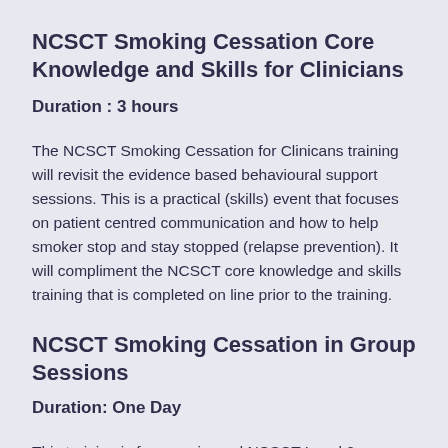NCSCT Smoking Cessation Core Knowledge and Skills for Clinicians
Duration : 3 hours
The NCSCT Smoking Cessation for Clinicans training will revisit the evidence based behavioural support sessions. This is a practical (skills) event that focuses on patient centred communication and how to help smoker stop and stay stopped (relapse prevention). It will compliment the NCSCT core knowledge and skills training that is completed on line prior to the training.
NCSCT Smoking Cessation in Group Sessions
Duration: One Day
This training is for experienced NCSCT Level 2 Advisors who